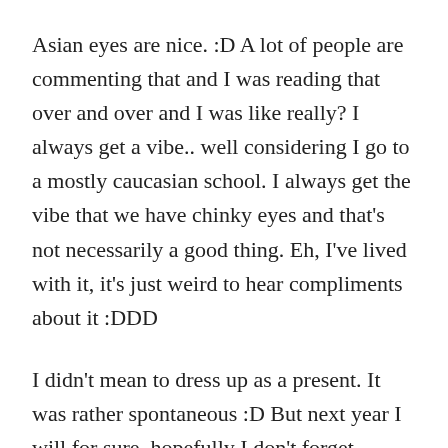Asian eyes are nice. :D A lot of people are commenting that and I was reading that over and over and I was like really? I always get a vibe.. well considering I go to a mostly caucasian school. I always get the vibe that we have chinky eyes and that's not necessarily a good thing. Eh, I've lived with it, it's just weird to hear compliments about it :DDD
I didn't mean to dress up as a present. It was rather spontaneous :D But next year I will for sure, hopefully I don't forget.
Aw, I'm sorry about your relationship with your parents. Mine is off and on. I just know that as icky